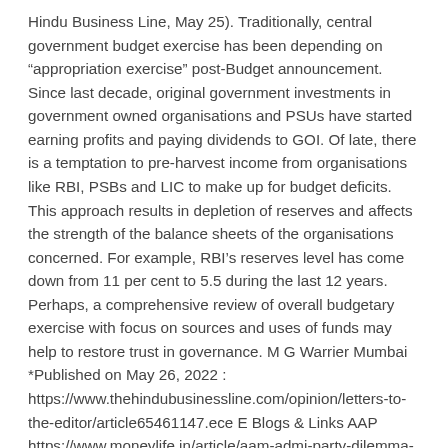Hindu Business Line, May 25). Traditionally, central government budget exercise has been depending on "appropriation exercise" post-Budget announcement. Since last decade, original government investments in government owned organisations and PSUs have started earning profits and paying dividends to GOI. Of late, there is a temptation to pre-harvest income from organisations like RBI, PSBs and LIC to make up for budget deficits. This approach results in depletion of reserves and affects the strength of the balance sheets of the organisations concerned. For example, RBI's reserves level has come down from 11 per cent to 5.5 during the last 12 years. Perhaps, a comprehensive review of overall budgetary exercise with focus on sources and uses of funds may help to restore trust in governance. M G Warrier Mumbai *Published on May 26, 2022 : https://www.thehindubusinessline.com/opinion/letters-to-the-editor/article65461147.ece E Blogs & Links AAP https://www.moneylife.in/article/aam-admi-party-dilemma-of-accepting-current-political-practices/30092.html This is what